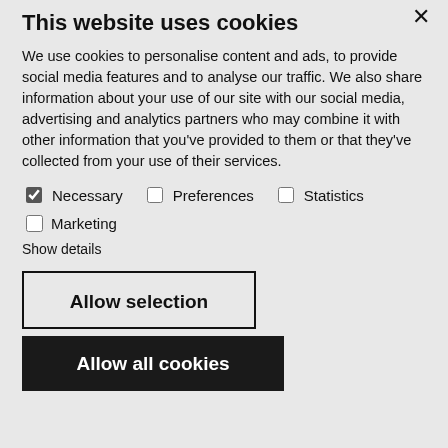This website uses cookies
We use cookies to personalise content and ads, to provide social media features and to analyse our traffic. We also share information about your use of our site with our social media, advertising and analytics partners who may combine it with other information that you've provided to them or that they've collected from your use of their services.
☑ Necessary  ☐ Preferences  ☐ Statistics
☐ Marketing
Show details
Allow selection
Allow all cookies